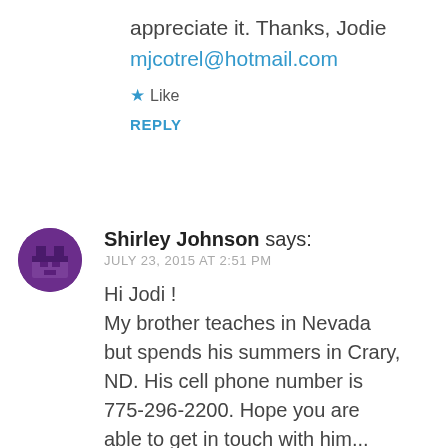appreciate it. Thanks, Jodie
mjcotrel@hotmail.com
★ Like
REPLY
Shirley Johnson says:
JULY 23, 2015 AT 2:51 PM
Hi Jodi ! My brother teaches in Nevada but spends his summers in Crary, ND. His cell phone number is 775-296-2200. Hope you are able to get in touch with him...